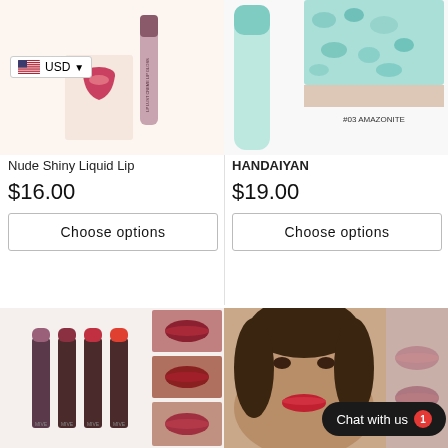[Figure (photo): Nude Shiny Liquid Lip product photo showing lip gloss bottles with pink/nude packaging and a USA flag currency selector showing USD]
[Figure (photo): HANDAIYAN lipgloss product photo showing a clear tube with teal/mint lip gloss and a swatch labeled #03 AMAZONITE]
Nude Shiny Liquid Lip
HANDAIYAN
$16.00
$19.00
Choose options
Choose options
[Figure (photo): Four lipstick tubes in shades ranging from purple to red with MIVE branding, and three small swatches showing lip colors]
[Figure (photo): Woman's face with red lips and model wearing makeup, plus lip swatch image, with Chat with us button overlay with badge 1]